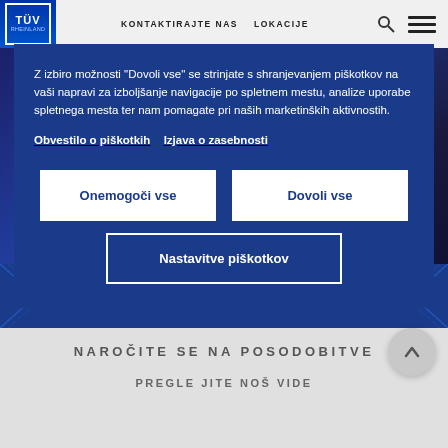[Figure (screenshot): TÜV website header with logo, navigation links 'KONTAKTIRAJTE NAS' and 'LOKACIJE', search icon, and hamburger menu icon on light gray background]
Z izbiro možnosti "Dovoli vse" se strinjate s shranjevanjem piškotkov na vaši napravi za izboljšanje navigacije po spletnem mestu, analize uporabe spletnega mesta ter nam pomagate pri naših marketinških aktivnostih.
Obvestilo o piškotkih   Izjava o zasebnosti
Onemogoči vse
Dovoli vse
Nastavitve piškotkov
KONTAKTIRAJTE NAS
NAROČITE SE NA POSODOBITVE
PREGLE JITE NOŠ VIDE